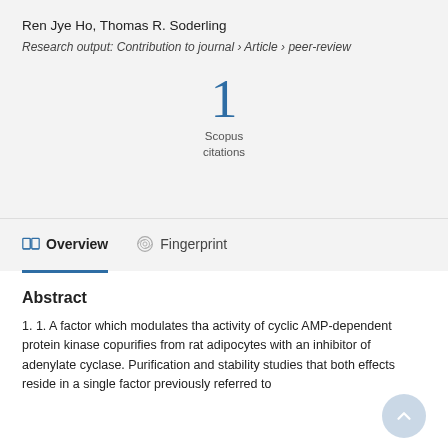Ren Jye Ho, Thomas R. Soderling
Research output: Contribution to journal › Article › peer-review
1
Scopus
citations
Overview
Fingerprint
Abstract
1. 1. A factor which modulates tha activity of cyclic AMP-dependent protein kinase copurifies from rat adipocytes with an inhibitor of adenylate cyclase. Purification and stability studies that both effects reside in a single factor previously referred to